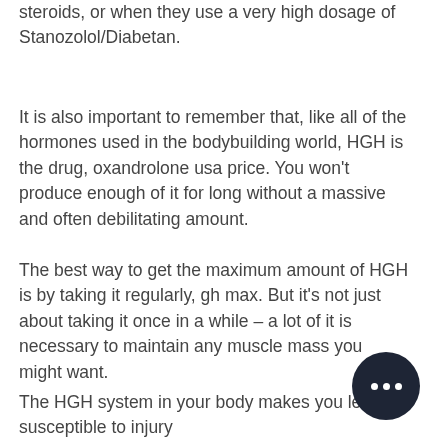steroids, or when they use a very high dosage of Stanozolol/Diabetan.
It is also important to remember that, like all of the hormones used in the bodybuilding world, HGH is the drug, oxandrolone usa price. You won't produce enough of it for long without a massive and often debilitating amount.
The best way to get the maximum amount of HGH is by taking it regularly, gh max. But it's not just about taking it once in a while – a lot of it is necessary to maintain any muscle mass you might want.
The HGH system in your body makes you less susceptible to injury
So how do you get all that testosterone in order to produce all the testosterone you need, you have to produce enough of the